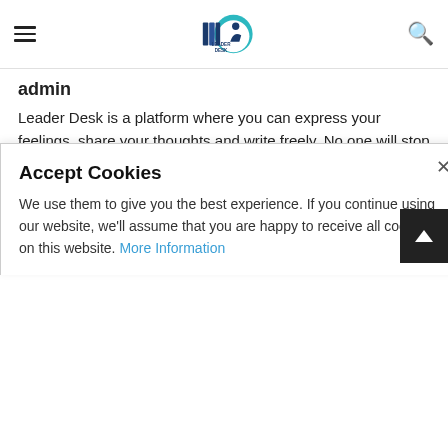Leader Desk navigation header with hamburger menu, logo, and search icon
admin
Leader Desk is a platform where you can express your feelings, share your thoughts and write freely. No one will stop you and no one will block you. Leader Desk is providing a writing platform for everyone. You can write your stories and show to the world.
[Figure (infographic): Social media icons: Facebook (f), Twitter (bird), Pinterest (p), YouTube (play button in box)]
Accept Cookies
We use them to give you the best experience. If you continue using our website, we'll assume that you are happy to receive all cookies on this website. More Information